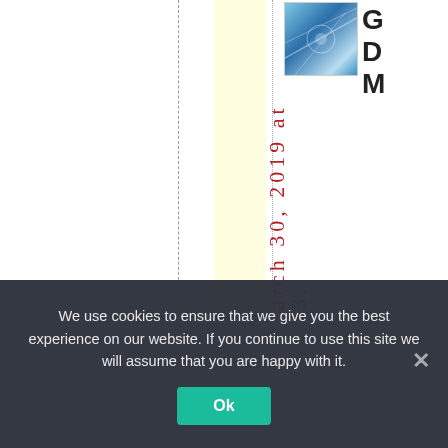[Figure (screenshot): Webpage content area showing a thumbnail image (blue tech/circuit board photo), bold text GDM, and vertical red date text reading 'March 30, 2019 at 3.' with dashed column guides and a yellow column highlight.]
We use cookies to ensure that we give you the best experience on our website. If you continue to use this site we will assume that you are happy with it.
Ok